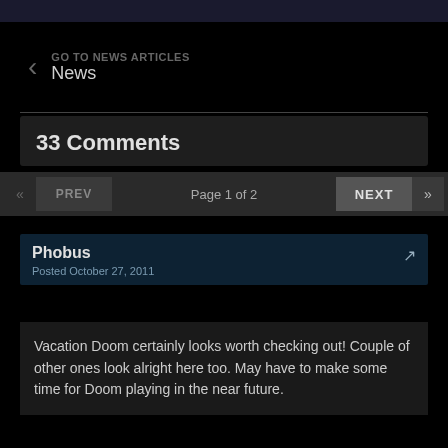GO TO NEWS ARTICLES / News
33 Comments
Page 1 of 2
Phobus
Posted October 27, 2011
Vacation Doom certainly looks worth checking out! Couple of other ones look alright here too. May have to make some time for Doom playing in the near future.